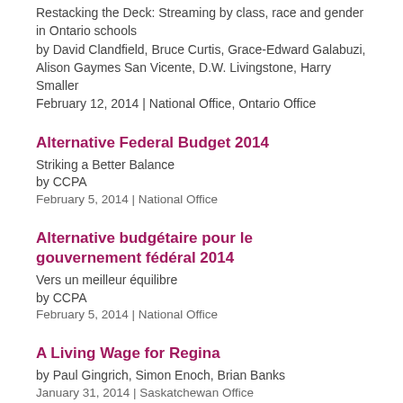Restacking the Deck: Streaming by class, race and gender in Ontario schools
by David Clandfield, Bruce Curtis, Grace-Edward Galabuzi, Alison Gaymes San Vicente, D.W. Livingstone, Harry Smaller
February 12, 2014 | National Office, Ontario Office
Alternative Federal Budget 2014
Striking a Better Balance
by CCPA
February 5, 2014 | National Office
Alternative budgétaire pour le gouvernement fédéral 2014
Vers un meilleur équilibre
by CCPA
February 5, 2014 | National Office
A Living Wage for Regina
by Paul Gingrich, Simon Enoch, Brian Banks
January 31, 2014 | Saskatchewan Office